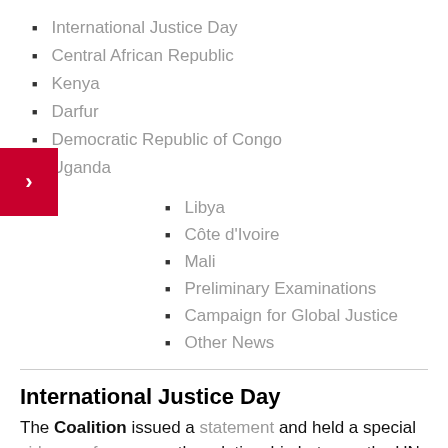International Justice Day
Central African Republic
Kenya
Darfur
Democratic Republic of Congo
Uganda
Libya
Côte d'Ivoire
Mali
Preliminary Examinations
Campaign for Global Justice
Other News
International Justice Day
The Coalition issued a statement and held a special video conference on the relationship between the UN Security Council and the ICC. The American Bar